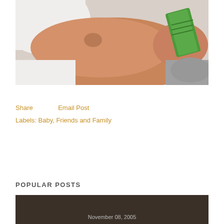[Figure (photo): Close-up photo of a baby or child's arm wearing a white shirt, holding a green object, with a beige background]
Share    Email Post
Labels: Baby, Friends and Family
POPULAR POSTS
[Figure (photo): Dark background photo with text 'November 08, 2005' visible at the bottom]